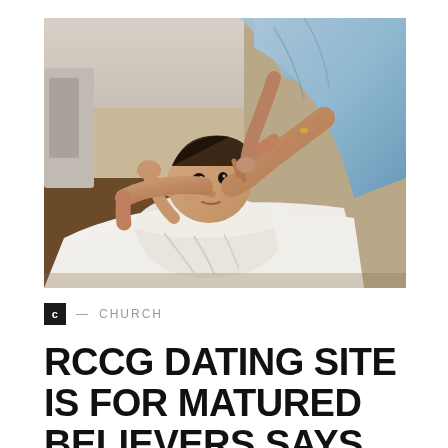[Figure (photo): A newborn baby lying on its back, being held by an adult in a blue medical gown. The adult's hands support the baby's head and body. The baby is wrapped in a white cloth and looking upward.]
C — CHURCH
RCCG DATING SITE IS FOR MATURED BELIEVERS SAYS